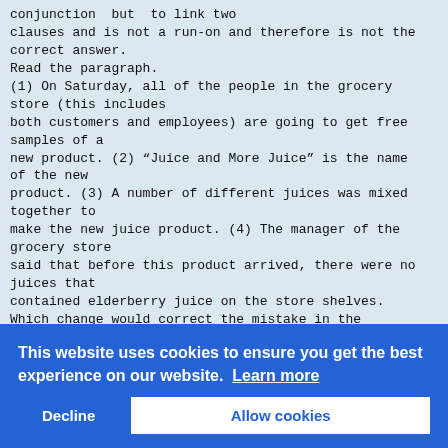conjunction  but  to link two
clauses and is not a run-on and therefore is not the
correct answer.
Read the paragraph.
(1) On Saturday, all of the people in the grocery
store (this includes
both customers and employees) are going to get free
samples of a
new product. (2) “Juice and More Juice” is the name
of the new
product. (3) A number of different juices was mixed
together to
make the new juice product. (4) The manager of the
grocery store
said that before this product arrived, there were no
juices that
contained elderberry juice on the store shelves.
Which change would correct the mistake in the
paragraph?
A. Change are to is in sentence 1.
B. Change is to are in sentence 2.
C. Change was to were in sentence 3.
D. Change were to was in sentence 4.
The   subject-verb agreement!
Option B is... "all of the people"
agree  with face   Option B is    the little action
singular noun thing before arriving... Option!
C contains a mistake
because the subject, "a number," is considered plural
and therefore does
This website uses cookies to ensure you get the best experience on our website.  Learn more
Decline
Allow cookies